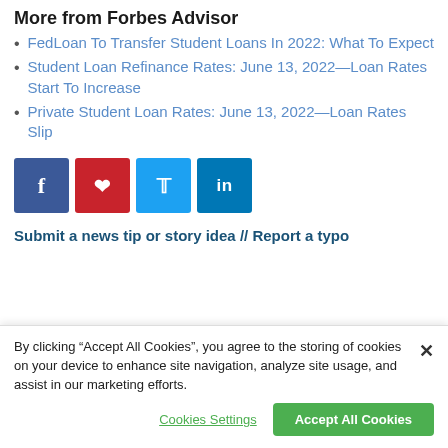More from Forbes Advisor
FedLoan To Transfer Student Loans In 2022: What To Expect
Student Loan Refinance Rates: June 13, 2022—Loan Rates Start To Increase
Private Student Loan Rates: June 13, 2022—Loan Rates Slip
[Figure (infographic): Social share buttons: Facebook (blue), Pinterest (red), Twitter (light blue), LinkedIn (dark blue)]
Submit a news tip or story idea // Report a typo
By clicking “Accept All Cookies”, you agree to the storing of cookies on your device to enhance site navigation, analyze site usage, and assist in our marketing efforts.